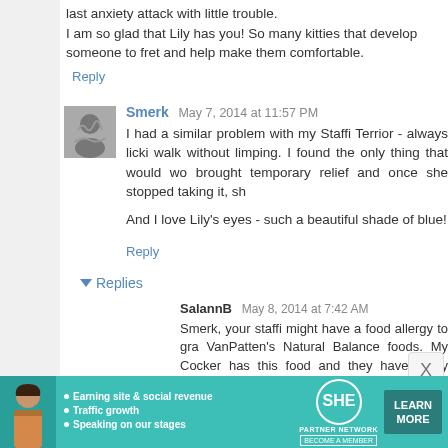last anxiety attack with little trouble. I am so glad that Lily has you! So many kitties that develop someone to fret and help make them comfortable.
Reply
Smerk  May 7, 2014 at 11:57 PM
I had a similar problem with my Staffi Terrior - always licki walk without limping. I found the only thing that would wo brought temporary relief and once she stopped taking it, sh And I love Lily's eyes - such a beautiful shade of blue!
Reply
Replies
SalannB  May 8, 2014 at 7:42 AM
Smerk, your staffi might have a food allergy to gra VanPatten's Natural Balance foods. My Cocker has this food and they have many non-chicken foods weeks and see if it works. It's expensive food, but b
[Figure (infographic): SHE Partner Network advertisement banner with a woman, bullet points about earning site & social revenue, traffic growth, speaking on stages, SHE logo, and a teal Learn More button]